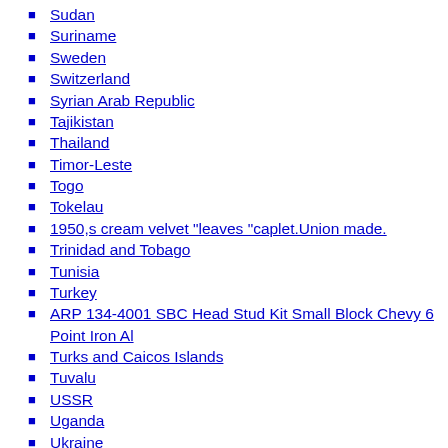Sudan
Suriname
Sweden
Switzerland
Syrian Arab Republic
Tajikistan
Thailand
Timor-Leste
Togo
Tokelau
1950,s cream velvet "leaves "caplet.Union made.
Trinidad and Tobago
Tunisia
Turkey
ARP 134-4001 SBC Head Stud Kit Small Block Chevy 6 Point Iron Al
Turks and Caicos Islands
Tuvalu
USSR
Uganda
Ukraine
United Arab Emirates
United Kingdom
United Republic of Tanzania